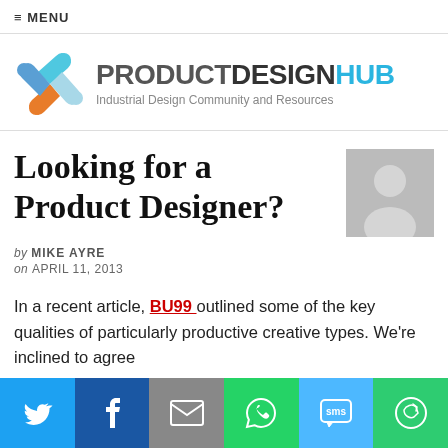≡ MENU
[Figure (logo): Product Design Hub logo with colorful interlocking puzzle pieces icon and text 'PRODUCTDESIGNHUB — Industrial Design Community and Resources']
Looking for a Product Designer?
by MIKE AYRE
on APRIL 11, 2013
In a recent article, BU99 outlined some of the key qualities of particularly productive creative types. We're inclined to agree
[Figure (infographic): Social share bar with Twitter, Facebook, Email, WhatsApp, SMS, and More buttons]